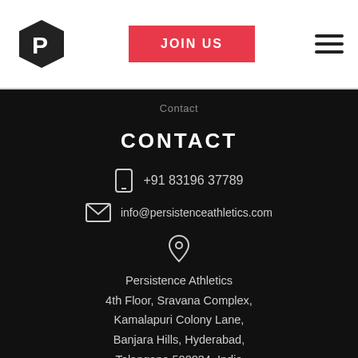[Figure (logo): Persistence Athletics hexagonal logo with stylized P]
JOIN US
[Figure (other): Hamburger menu icon with three horizontal lines]
Contact
CONTACT
+91 83196 37789
info@persistenceathletics.com
Persistence Athletics
4th Floor, Sravana Complex,
Kamalapuri Colony Lane,
Banjara Hills, Hyderabad,
Telangana 500034, India